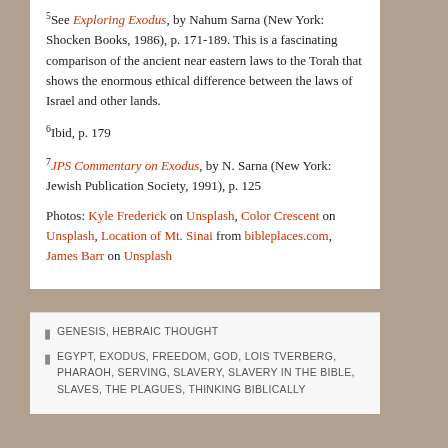5See Exploring Exodus, by Nahum Sarna (New York: Shocken Books, 1986), p. 171-189. This is a fascinating comparison of the ancient near eastern laws to the Torah that shows the enormous ethical difference between the laws of Israel and other lands.
6Ibid, p. 179
7JPS Commentary on Exodus, by N. Sarna (New York: Jewish Publication Society, 1991), p. 125
Photos: Kyle Frederick on Unsplash, Color Crescent on Unsplash, Location of Mt. Sinai from bibleplaces.com, James Barr on Unsplash
GENESIS, HEBRAIC THOUGHT | EGYPT, EXODUS, FREEDOM, GOD, LOIS TVERBERG, PHARAOH, SERVING, SLAVERY, SLAVERY IN THE BIBLE, SLAVES, THE PLAGUES, THINKING BIBLICALLY